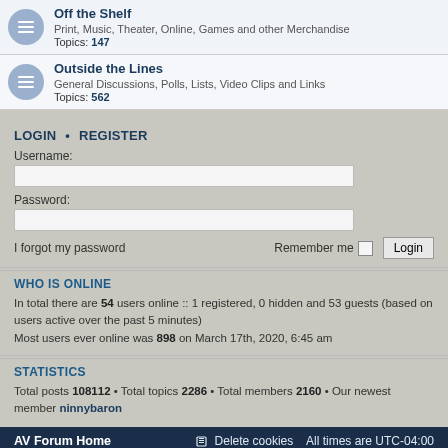Off the Shelf — Print, Music, Theater, Online, Games and other Merchandise. Topics: 147
Outside the Lines — General Discussions, Polls, Lists, Video Clips and Links. Topics: 562
LOGIN • REGISTER
Username:
Password:
I forgot my password    Remember me  Login
WHO IS ONLINE
In total there are 54 users online :: 1 registered, 0 hidden and 53 guests (based on users active over the past 5 minutes)
Most users ever online was 898 on March 17th, 2020, 6:45 am
STATISTICS
Total posts 108112 • Total topics 2286 • Total members 2160 • Our newest member ninnybaron
AV Forum Home    Delete cookies    All times are UTC-04:00
Powered by phpBB® Forum Software © phpBB Limited